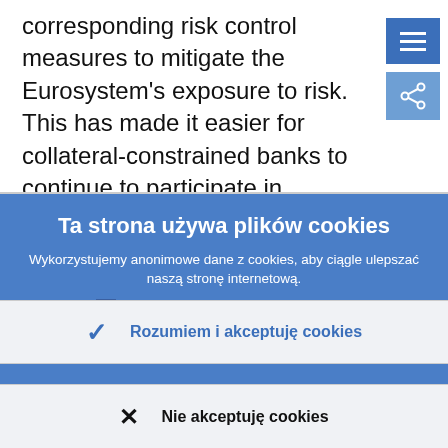corresponding risk control measures to mitigate the Eurosystem's exposure to risk. This has made it easier for collateral-constrained banks to continue to participate in refinancing operations.
Ta strona używa plików cookies
Wykorzystujemy anonimowe dane z cookies, aby ciągle ulepszać naszą stronę internetową.
Więcej informacji o użyciu cookies
Rozumiem i akceptuję cookies
Nie akceptuję cookies